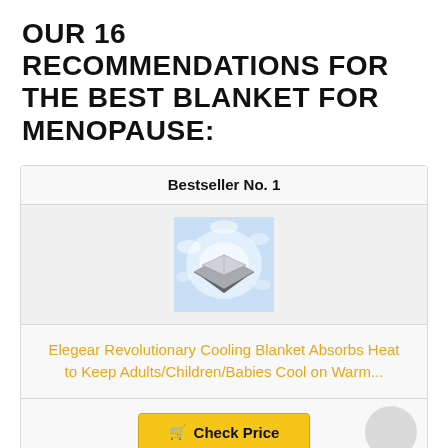OUR 16 RECOMMENDATIONS FOR THE BEST BLANKET FOR MENOPAUSE:
| Bestseller No. 1 |
| --- |
| [product image: cooling blanket] |
| Elegear Revolutionary Cooling Blanket Absorbs Heat to Keep Adults/Children/Babies Cool on Warm... |
| Check Price |